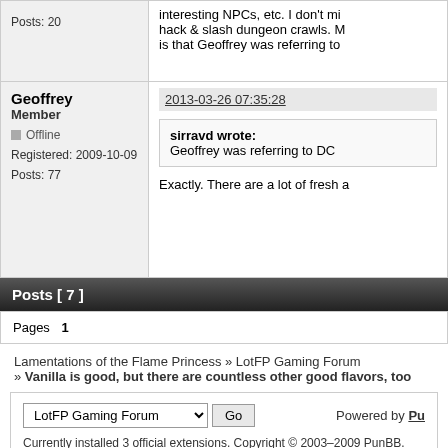Posts: 20
Geoffrey
Member
Offline
Registered: 2009-10-09
Posts: 77
2013-03-26 07:35:28
sirravd wrote:
Geoffrey was referring to DC
Exactly. There are a lot of fresh a
Posts [ 7 ]
Pages  1
Lamentations of the Flame Princess » LotFP Gaming Forum
» Vanilla is good, but there are countless other good flavors, too
LotFP Gaming Forum  Go
Currently installed 3 official extensions. Copyright © 2003–2009 PunBB.
Powered by Pu